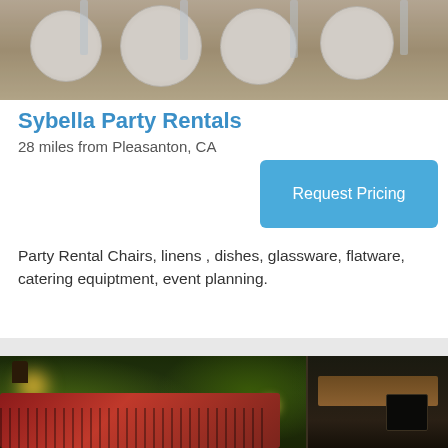[Figure (photo): Top photo showing a formally set dining table with white plates, glasses, and linens]
Sybella Party Rentals
28 miles from Pleasanton, CA
[Figure (other): Request Pricing button — blue rounded rectangle]
Party Rental Chairs, linens , dishes, glassware, flatware, catering equiptment, event planning.
[Figure (photo): Bottom photo showing an outdoor garden event space with warm lantern lighting, lush green plants, red patterned cloth seating, and a wooden table area]